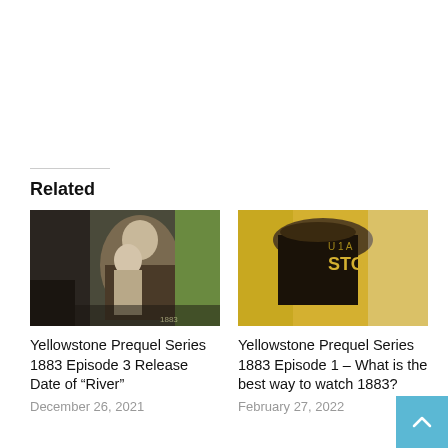Related
[Figure (photo): Scene from Yellowstone prequel series 1883 - older man hugging someone outdoors]
Yellowstone Prequel Series 1883 Episode 3 Release Date of “River”
December 26, 2021
[Figure (photo): Scene from Yellowstone prequel series 1883 - person wearing a cowboy hat with yellow background]
Yellowstone Prequel Series 1883 Episode 1 – What is the best way to watch 1883?
February 27, 2022